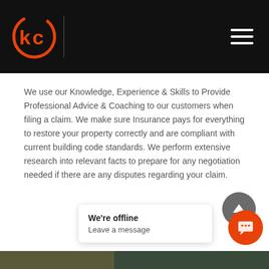[Figure (logo): KC circular orange logo with hamburger menu icon on black navigation bar]
We use our Knowledge, Experience & Skills to Provide Professional Advice & Coaching to our customers when filing a claim. We make sure Insurance pays for everything to restore your property correctly and are compliant with current building code standards. We perform extensive research into relevant facts to prepare for any negotiation needed if there are any disputes regarding your claim.
We're offline
Leave a message